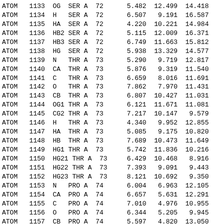| Type | Serial | Name | Res | Chain | SeqNo | X | Y | Z |
| --- | --- | --- | --- | --- | --- | --- | --- | --- |
| ATOM | 1133 | OG | SER | A | 72 | 5.482 | 12.499 | 14.418 |
| ATOM | 1134 | H | SER | A | 72 | 6.507 | 9.191 | 16.587 |
| ATOM | 1135 | HA | SER | A | 72 | 4.220 | 10.221 | 14.984 |
| ATOM | 1136 | HB2 | SER | A | 72 | 5.115 | 12.009 | 16.371 |
| ATOM | 1137 | HB3 | SER | A | 72 | 6.749 | 11.663 | 15.812 |
| ATOM | 1138 | HG | SER | A | 72 | 5.938 | 13.329 | 14.577 |
| ATOM | 1139 | N | THR | A | 73 | 5.290 | 9.719 | 12.817 |
| ATOM | 1140 | CA | THR | A | 73 | 5.876 | 9.319 | 11.540 |
| ATOM | 1141 | C | THR | A | 73 | 6.659 | 8.016 | 11.691 |
| ATOM | 1142 | O | THR | A | 73 | 7.862 | 7.970 | 11.431 |
| ATOM | 1143 | CB | THR | A | 73 | 6.807 | 10.427 | 11.031 |
| ATOM | 1144 | OG1 | THR | A | 73 | 6.121 | 11.671 | 11.081 |
| ATOM | 1145 | CG2 | THR | A | 73 | 7.217 | 10.147 | 9.579 |
| ATOM | 1146 | H | THR | A | 73 | 4.340 | 9.952 | 12.855 |
| ATOM | 1147 | HA | THR | A | 73 | 5.085 | 9.175 | 10.820 |
| ATOM | 1148 | HB | THR | A | 73 | 7.689 | 10.473 | 11.649 |
| ATOM | 1149 | HG1 | THR | A | 73 | 5.742 | 11.836 | 10.216 |
| ATOM | 1150 | HG21 | THR | A | 73 | 6.429 | 10.468 | 8.916 |
| ATOM | 1151 | HG22 | THR | A | 73 | 7.393 | 9.091 | 9.443 |
| ATOM | 1152 | HG23 | THR | A | 73 | 8.121 | 10.692 | 9.350 |
| ATOM | 1153 | N | PRO | A | 74 | 6.004 | 6.963 | 12.105 |
| ATOM | 1154 | CA | PRO | A | 74 | 6.657 | 5.631 | 12.291 |
| ATOM | 1155 | C | PRO | A | 74 | 7.010 | 4.976 | 10.955 |
| ATOM | 1156 | O | PRO | A | 74 | 6.344 | 5.205 | 9.945 |
| ATOM | 1157 | CB | PRO | A | 74 | 5.597 | 4.820 | 13.050 |
| ATOM | 1158 | CG | PRO | A | 74 | 4.294 | 5.426 | 12.642 |
| ATOM | 1159 | CD | PRO | A | 74 | 4.570 | 6.919 | 12.446 |
| ATOM | 1160 | HA | PRO | A | 74 | 7.541 | 5.731 | 12.899 |
| ATOM | 1161 | HB2 | PRO | A | 74 | 5.639 | 3.775 | 12.766 |
| ATOM | 1162 | HB3 | PRO | A | 74 | 5.736 | 4.924 | 14.115 |